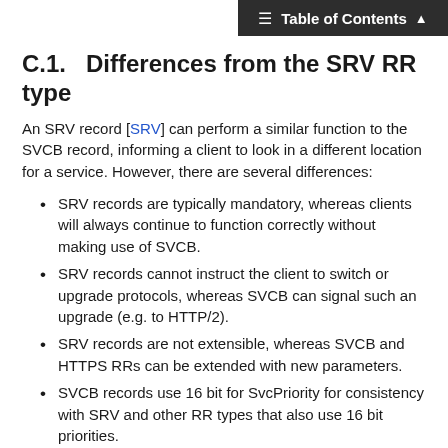Table of Contents
C.1.   Differences from the SRV RR type
An SRV record [SRV] can perform a similar function to the SVCB record, informing a client to look in a different location for a service. However, there are several differences:
SRV records are typically mandatory, whereas clients will always continue to function correctly without making use of SVCB.
SRV records cannot instruct the client to switch or upgrade protocols, whereas SVCB can signal such an upgrade (e.g. to HTTP/2).
SRV records are not extensible, whereas SVCB and HTTPS RRs can be extended with new parameters.
SVCB records use 16 bit for SvcPriority for consistency with SRV and other RR types that also use 16 bit priorities.
C.2.   Differences from the proposed HTTP